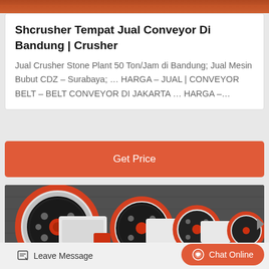[Figure (photo): Top image strip showing machinery/conveyor equipment in orange-red tones]
Shcrusher Tempat Jual Conveyor Di Bandung | Crusher
Jual Crusher Stone Plant 50 Ton/Jam di Bandung; Jual Mesin Bubut CDZ – Surabaya; … HARGA – JUAL | CONVEYOR BELT – BELT CONVEYOR DI JAKARTA … HARGA –...
[Figure (other): Get Price button — orange/red rounded rectangle button with white text]
[Figure (photo): Industrial crusher/conveyor pulley wheels in red and black, multiple units lined up in a dark workshop setting]
Leave Message
Chat Online